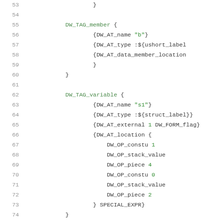Code listing lines 53-74 showing DWARF debug info format with DW_TAG_member and DW_TAG_variable entries